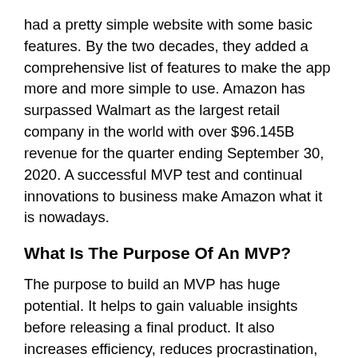had a pretty simple website with some basic features. By the two decades, they added a comprehensive list of features to make the app more and more simple to use. Amazon has surpassed Walmart as the largest retail company in the world with over $96.145B revenue for the quarter ending September 30, 2020. A successful MVP test and continual innovations to business make Amazon what it is nowadays.
What Is The Purpose Of An MVP?
The purpose to build an MVP has huge potential. It helps to gain valuable insights before releasing a final product. It also increases efficiency, reduces procrastination, and avoids failures before committing to a large budget. Start-ups like Facebook and Airbnb have adopted this and the rest is a story!